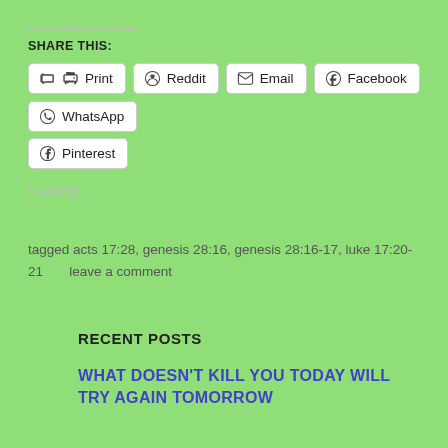SHARE THIS:
Print
Reddit
Email
Facebook
WhatsApp
Pinterest
Loading...
tagged acts 17:28, genesis 28:16, genesis 28:16-17, luke 17:20-21     leave a comment
RECENT POSTS
WHAT DOESN'T KILL YOU TODAY WILL TRY AGAIN TOMORROW